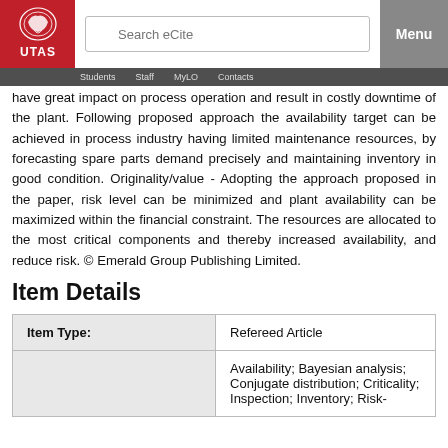UTAS | Search eCite | Menu
have great impact on process operation and result in costly downtime of the plant. Following proposed approach the availability target can be achieved in process industry having limited maintenance resources, by forecasting spare parts demand precisely and maintaining inventory in good condition. Originality/value - Adopting the approach proposed in the paper, risk level can be minimized and plant availability can be maximized within the financial constraint. The resources are allocated to the most critical components and thereby increased availability, and reduce risk. © Emerald Group Publishing Limited.
Item Details
|  |  |
| --- | --- |
| Item Type: | Refereed Article |
|  | Availability; Bayesian analysis; Conjugate distribution; Criticality; Inspection; Inventory; Risk- |